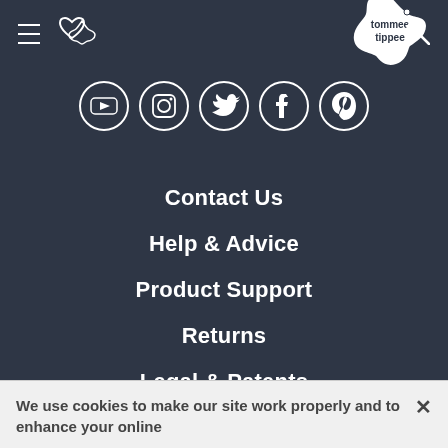≡ ♡ tommee tippee 🔍
[Figure (logo): Tommee Tippee logo in star shape, white on dark background, centered in header]
[Figure (other): Social media icons in circles: YouTube, Instagram, Twitter, Facebook, Pinterest]
Contact Us
Help & Advice
Product Support
Returns
Legal & Patents
Product Recalls
We use cookies to make our site work properly and to enhance your online